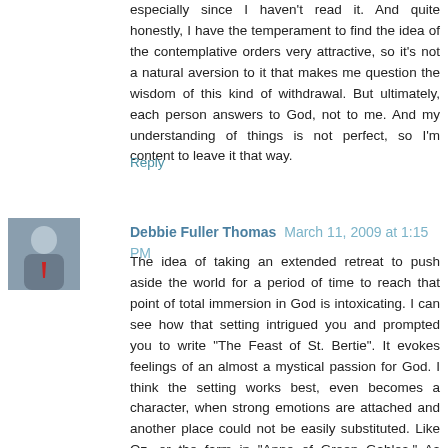especially since I haven't read it. And quite honestly, I have the temperament to find the idea of the contemplative orders very attractive, so it's not a natural aversion to it that makes me question the wisdom of this kind of withdrawal. But ultimately, each person answers to God, not to me. And my understanding of things is not perfect, so I'm content to leave it that way.
Reply
Debbie Fuller Thomas  March 11, 2009 at 1:15 PM
The idea of taking an extended retreat to push aside the world for a period of time to reach that point of total immersion in God is intoxicating. I can see how that setting intrigued you and prompted you to write "The Feast of St. Bertie". It evokes feelings of an almost a mystical passion for God. I think the setting works best, even becomes a character, when strong emotions are attached and another place could not be easily substituted. Like Oz, or the farm in "Anne of Green Gables." As actress Tina Fey's TV character says, "I want to go to there." Too bad there isn't a literary travel agency that can set up a tour!